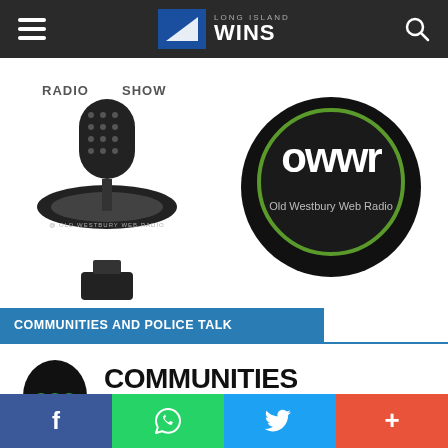Long Island WINS navigation header
[Figure (logo): Radio show microphone logo at Old Westbury Web Radio with text 'RADIO SHOW' above]
[Figure (logo): OWWR Old Westbury Web Radio circular logo in black and green]
COMMUNITIES AND POLICE TALK
[Figure (logo): Communities and Police Talk logo with black oval face icon with green dots and bold text 'COMMUNITIES AND POLICE TALK']
Social sharing bar: Facebook, WhatsApp, Twitter, More